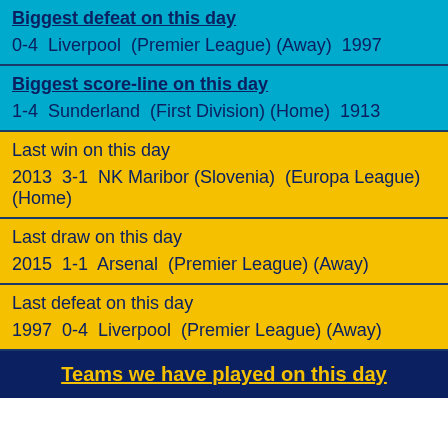Biggest defeat on this day
0-4  Liverpool  (Premier League) (Away)  1997
Biggest score-line on this day
1-4  Sunderland  (First Division) (Home)  1913
Last win on this day
2013  3-1  NK Maribor (Slovenia)  (Europa League) (Home)
Last draw on this day
2015  1-1  Arsenal  (Premier League) (Away)
Last defeat on this day
1997  0-4  Liverpool  (Premier League) (Away)
Teams we have played on this day